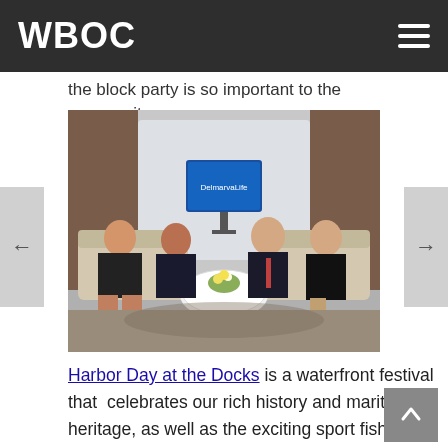WBOC
the block party is so important to the community.
[Figure (photo): Four people seated on couches in a TV studio set with a 'DelmarvaLife' screen visible in the background. Two women on the left, a man and a woman on the right, all dressed in dark clothing, with a round white coffee table in the center.]
Harbor Day at the Docks is a waterfront festival that  celebrates our rich history and maritime heritage, as well as the exciting sport fishing and commercial fishing industries. Highlights of the day include seafood cooking demonstrations, crab